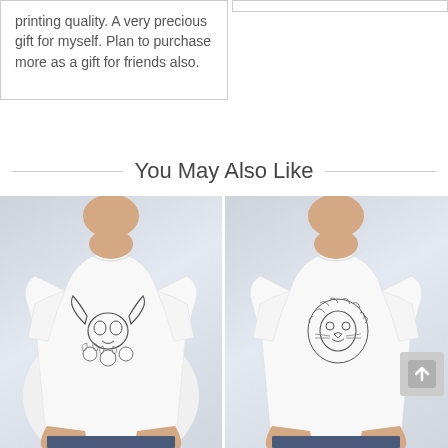printing quality. A very precious gift for myself. Plan to purchase more as a gift for friends also.
You May Also Like
[Figure (photo): Man wearing a white t-shirt with a decorative bull skull and floral illustration printed on it]
[Figure (photo): Man wearing a white t-shirt with a detailed lion head illustration printed on it]